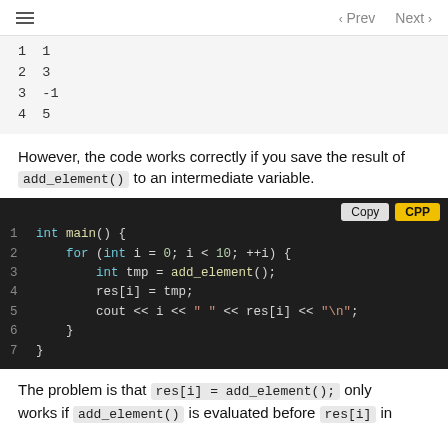≡   < Prev   Next >
1  1
2  3
3  -1
4  5
However, the code works correctly if you save the result of add_element() to an intermediate variable.
[Figure (screenshot): Dark-themed code block showing C++ code with line numbers 1-7. Copy and CPP buttons in the top right. Code: int main() { for (int i = 0; i < 10; ++i) { int tmp = add_element(); res[i] = tmp; cout << i << " " << res[i] << "\n"; } }]
The problem is that res[i] = add_element(); only works if add_element() is evaluated before res[i] in